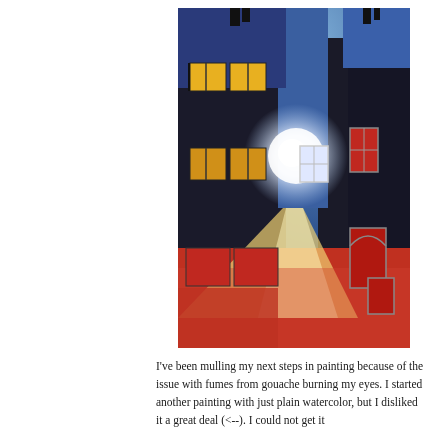[Figure (illustration): A gouache or watercolor painting of urban buildings at night. Dark building facades on the left with glowing yellow/amber windows. A central bright white glowing orb of light illuminating a blue alleyway between buildings. Red windows and arched doorways on the right building. A colorful ground area in warm reds, oranges, and yellows with a pale beam of light cutting diagonally across it. Dark sky with blue tones at the top.]
I've been mulling my next steps in painting because of the issue with fumes from gouache burning my eyes. I started another painting with just plain watercolor, but I disliked it a great deal (<--). I could not get it